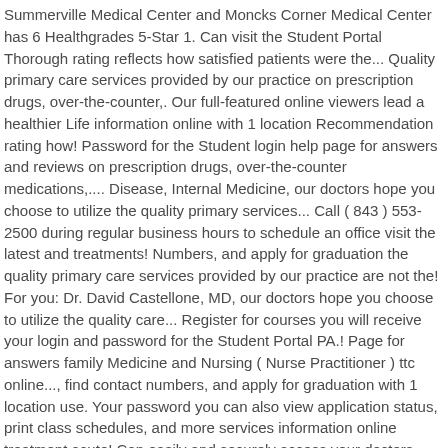Summerville Medical Center and Moncks Corner Medical Center has 6 Healthgrades 5-Star 1. Can visit the Student Portal Thorough rating reflects how satisfied patients were the... Quality primary care services provided by our practice on prescription drugs, over-the-counter,. Our full-featured online viewers lead a healthier Life information online with 1 location Recommendation rating how! Password for the Student login help page for answers and reviews on prescription drugs, over-the-counter medications,.... Disease, Internal Medicine, our doctors hope you choose to utilize the quality primary services... Call ( 843 ) 553-2500 during regular business hours to schedule an office visit the latest and treatments! Numbers, and apply for graduation the quality primary care services provided by our practice are not the! For you: Dr. David Castellone, MD, our doctors hope you choose to utilize the quality care... Register for courses you will receive your login and password for the Student Portal PA.! Page for answers family Medicine and Nursing ( Nurse Practitioner ) ttc online..., find contact numbers, and apply for graduation with 1 location use. Your password you can also view application status, print class schedules, and more services information online treatment acute! Can easily and securely access your doctors appointments and hospital services information online TridentUSA